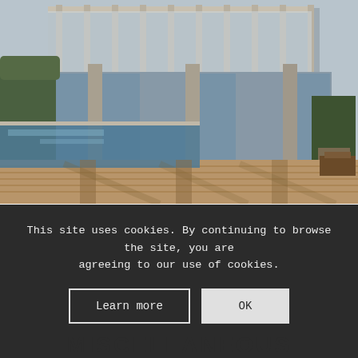[Figure (photo): Architectural rendering of a modern outdoor space with a swimming pool, wooden deck, concrete columns, glass walls, and green plants. Realistic 3D render with natural lighting and shadows.]
How to Render Animations in FluidRay
This site uses cookies. By continuing to browse the site, you are agreeing to our use of cookies.
Learn more
OK
MISCELLANEOUS